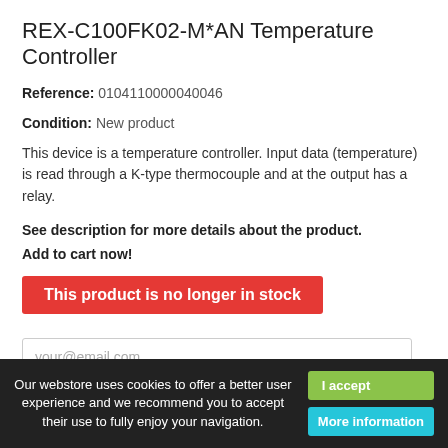REX-C100FK02-M*AN Temperature Controller
Reference: 0104110000040046
Condition: New product
This device is a temperature controller. Input data (temperature) is read through a K-type thermocouple and at the output has a relay.
See description for more details about the product.
Add to cart now!
This product is no longer in stock
your@email.com
Notify me when available
Our webstore uses cookies to offer a better user experience and we recommend you to accept their use to fully enjoy your navigation.